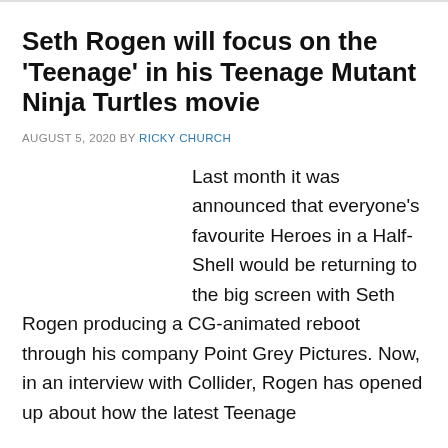Seth Rogen will focus on the ‘Teenage’ in his Teenage Mutant Ninja Turtles movie
AUGUST 5, 2020 BY RICKY CHURCH
Last month it was announced that everyone’s favourite Heroes in a Half-Shell would be returning to the big screen with Seth Rogen producing a CG-animated reboot through his company Point Grey Pictures. Now, in an interview with Collider, Rogen has opened up about how the latest Teenage